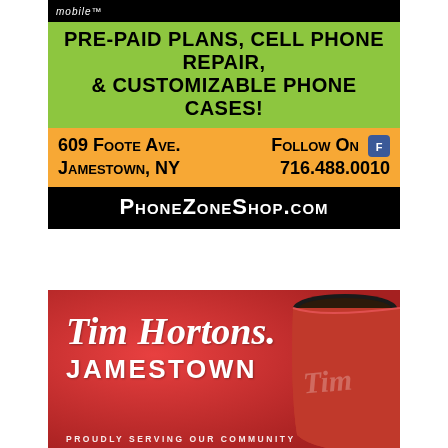[Figure (infographic): Phone Zone mobile ad with green, orange and black sections. Services listed: PRE-PAID PLANS, CELL PHONE REPAIR, & CUSTOMIZABLE PHONE CASES! Address: 609 Foote Ave., Jamestown, NY. Phone: 716.488.0010. Follow on Facebook. Website: PhoneZoneShop.com]
[Figure (infographic): Tim Hortons Jamestown advertisement on red background with coffee cup and text 'PROUDLY SERVING OUR COMMUNITY']